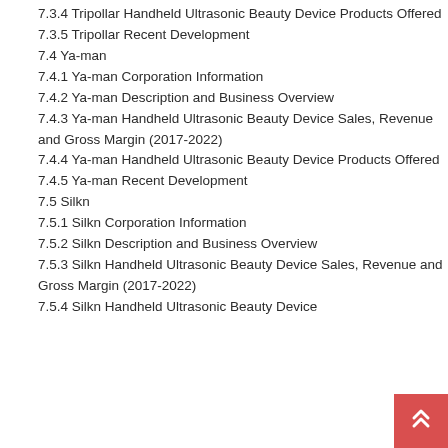7.3.4 Tripollar Handheld Ultrasonic Beauty Device Products Offered
7.3.5 Tripollar Recent Development
7.4 Ya-man
7.4.1 Ya-man Corporation Information
7.4.2 Ya-man Description and Business Overview
7.4.3 Ya-man Handheld Ultrasonic Beauty Device Sales, Revenue and Gross Margin (2017-2022)
7.4.4 Ya-man Handheld Ultrasonic Beauty Device Products Offered
7.4.5 Ya-man Recent Development
7.5 Silkn
7.5.1 Silkn Corporation Information
7.5.2 Silkn Description and Business Overview
7.5.3 Silkn Handheld Ultrasonic Beauty Device Sales, Revenue and Gross Margin (2017-2022)
7.5.4 Silkn Handheld Ultrasonic Beauty Device